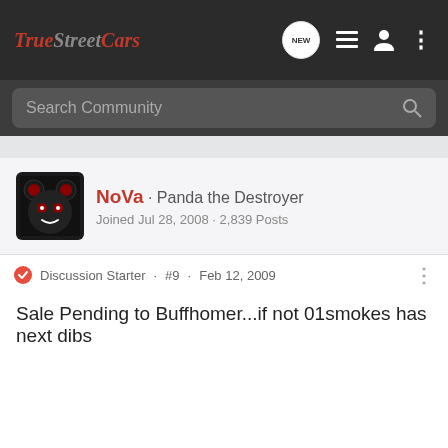True Street Cars
Search Community
NoVa · Panda the Destroyer
Joined Jul 28, 2008 · 2,839 Posts
Discussion Starter · #9 · Feb 12, 2009
Sale Pending to Buffhomer...if not 01smokes has next dibs
2000 Camaro Z28
H/C Nitrous MWC Fab 9"